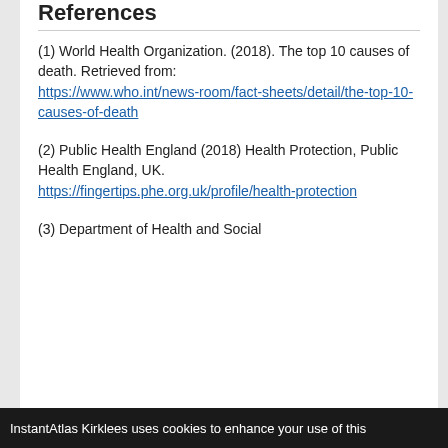References
(1) World Health Organization. (2018). The top 10 causes of death. Retrieved from: https://www.who.int/news-room/fact-sheets/detail/the-top-10-causes-of-death
(2) Public Health England (2018) Health Protection, Public Health England, UK. https://fingertips.phe.org.uk/profile/health-protection
(3) Department of Health and Social
InstantAtlas Kirklees uses cookies to enhance your use of this